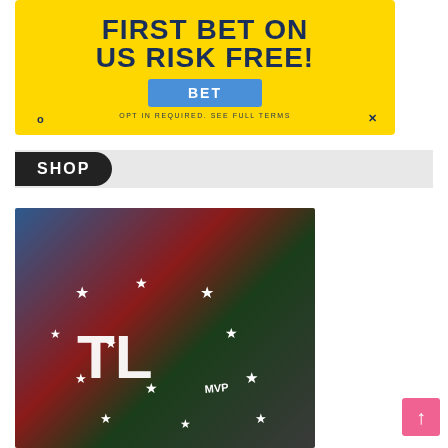[Figure (infographic): Yellow advertisement banner: 'FIRST BET ON US RISK FREE!' with a blue BET button and small text 'OPT IN REQUIRED. SEE FULL TERMS'. Circle and X icons at bottom.]
SHOP
[Figure (photo): Promotional collage image for The Liberty Line (TL) merchandise/apparel store. Features large TL logo with stars, jerseys, t-shirts, and player photos overlaid.]